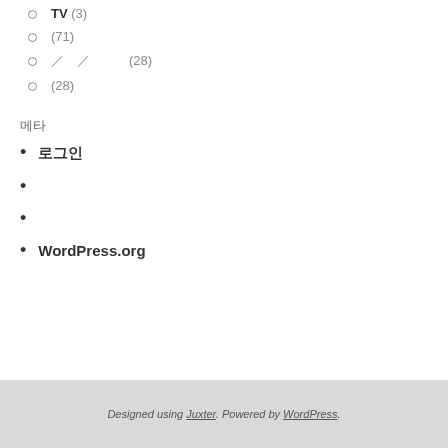TV (3)
(71)
/ / (28)
(28)
메타
로그인
WordPress.org
Designed using Juxter. Powered by WordPress.